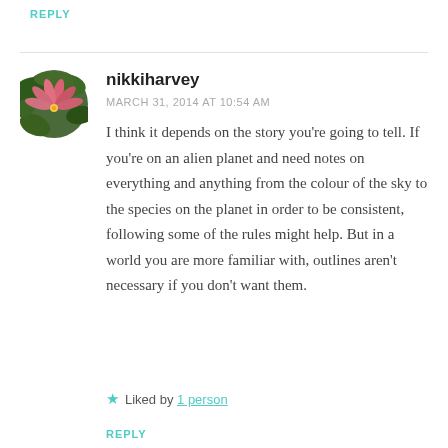REPLY
[Figure (photo): Circular avatar photo of a pink flower against dark green foliage]
nikkiharvey
MARCH 31, 2014 AT 10:54 AM
I think it depends on the story you're going to tell. If you're on an alien planet and need notes on everything and anything from the colour of the sky to the species on the planet in order to be consistent, following some of the rules might help. But in a world you are more familiar with, outlines aren't necessary if you don't want them.
★ Liked by 1 person
REPLY